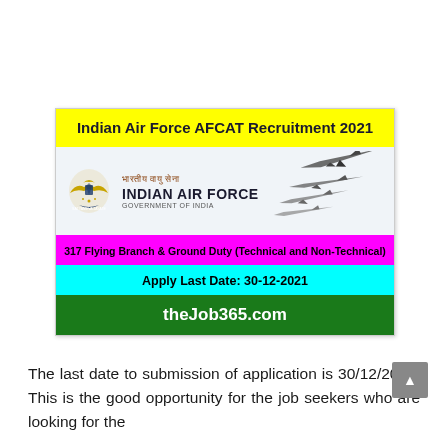[Figure (infographic): Indian Air Force AFCAT Recruitment 2021 banner card with yellow title bar, IAF logo and jets image, magenta bar with vacancy details, cyan bar with last date, and green bar with website URL]
The last date to submission of application is 30/12/2021. This is the good opportunity for the job seekers who are looking for the